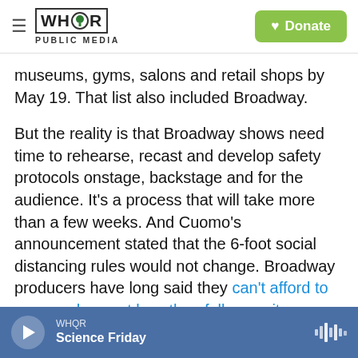WHQR PUBLIC MEDIA | Donate
museums, gyms, salons and retail shops by May 19. That list also included Broadway.
But the reality is that Broadway shows need time to rehearse, recast and develop safety protocols onstage, backstage and for the audience. It's a process that will take more than a few weeks. And Cuomo's announcement stated that the 6-foot social distancing rules would not change. Broadway producers have long said they can't afford to reopen shows at less than full capacity.
The Broadway League responded in a statement:
WHQR | Science Friday